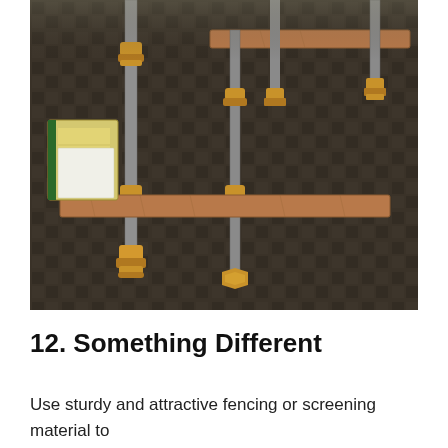[Figure (photo): Close-up photograph of an industrial-style shelving unit made with wooden shelves and metal pipes with brass/gold fittings as legs and connectors, placed on a textured dark carpet floor. Books are visible on one of the shelves.]
12. Something Different
Use sturdy and attractive fencing or screening material to